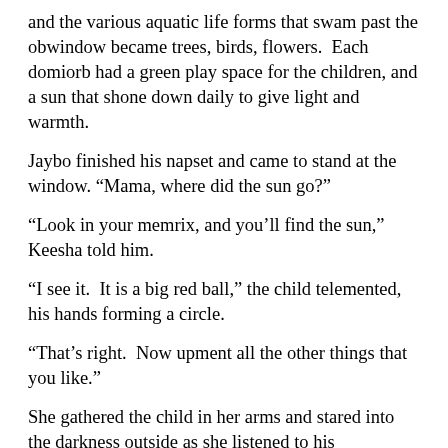and the various aquatic life forms that swam past the obwindow became trees, birds, flowers.  Each domiorb had a green play space for the children, and a sun that shone down daily to give light and warmth.
Jaybo finished his napset and came to stand at the window. “Mama, where did the sun go?”
“Look in your memrix, and you’ll find the sun,” Keesha told him.
“I see it.  It is a big red ball,” the child telemented, his hands forming a circle.
“That’s right.  Now upment all the other things that you like.”
She gathered the child in her arms and stared into the darkness outside as she listened to his recitation:   “Green grass.  A pretty flower.  A red and yellow bird.  A swing I sit in while you push me.  A tree with branches that I will be allowed to climb when I am old enough.”
In the darkened obwindow, Keesha saw their reflections